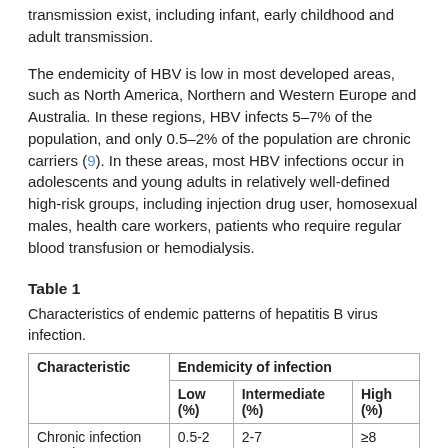transmission exist, including infant, early childhood and adult transmission.
The endemicity of HBV is low in most developed areas, such as North America, Northern and Western Europe and Australia. In these regions, HBV infects 5–7% of the population, and only 0.5–2% of the population are chronic carriers (9). In these areas, most HBV infections occur in adolescents and young adults in relatively well-defined high-risk groups, including injection drug user, homosexual males, health care workers, patients who require regular blood transfusion or hemodialysis.
Table 1
Characteristics of endemic patterns of hepatitis B virus infection.
| Characteristic | Endemicity of infection |  |  |
| --- | --- | --- | --- |
|  | Low (%) | Intermediate (%) | High (%) |
| Chronic infection prevalence | 0.5-2 | 2-7 | ≥8 |